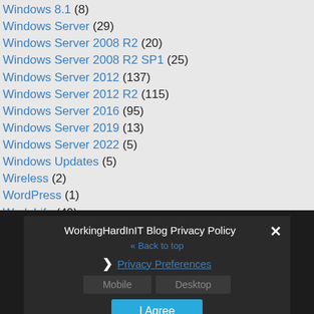Windows 8.1 (8)
Windows Server (29)
Windows Server 2008 R2 (20)
Windows Server 2008 R2 SP1 (25)
Windows Server 2012 (137)
Windows Server 2012 R2 (115)
Windows Server 2016 (95)
Windows Server 2019 (13)
Windows Server 2022 (5)
Windows Updates (5)
Wireless (2)
WordPress (1)
Work Life (49)
WorkingHardInIT Blog Privacy Policy
« Back to top
❯ Privacy Preferences
Mobile  Desktop
I Agree